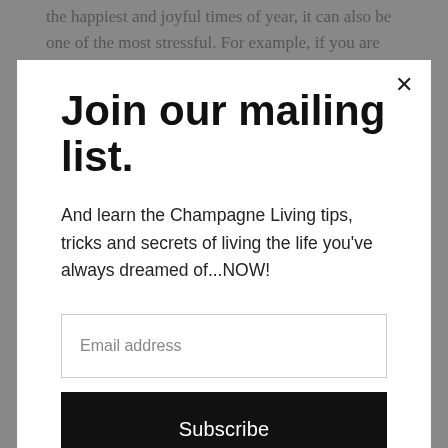the happiest and joyful times of year, it can also be one of the most stressful. For example, if you are playing host this year then you will be
Join our mailing list.
And learn the Champagne Living tips, tricks and secrets of living the life you've always dreamed of...NOW!
Email address
Subscribe
tree, help is always at hand and always very welcome. Plus this way it integrates the family